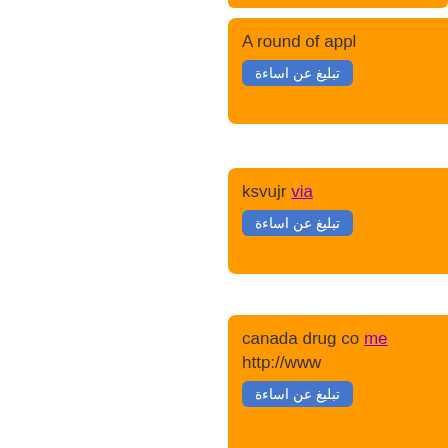[Figure (screenshot): Web forum or comment page screenshot. Left white panel with blue border. Right side shows orange comment/post cards with Arabic report buttons and mixed English/Arabic content.]
A round of appl
تبليغ عن اساءة
ksvujr viag
تبليغ عن اساءة
canada drug co me
http://www
تبليغ عن اساءة
no fax cash advan
تبليغ عن اساءة